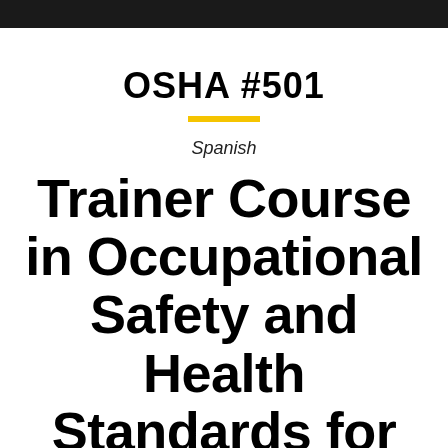OSHA #501
Spanish
Trainer Course in Occupational Safety and Health Standards for